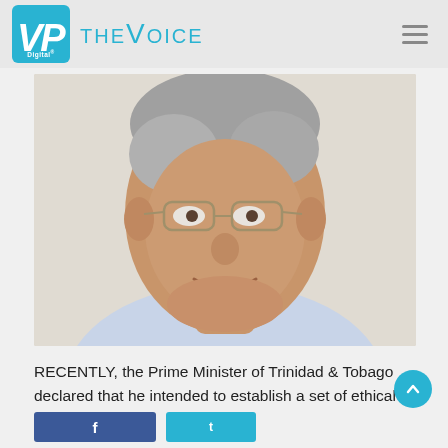VP Digital — THE VOICE
[Figure (photo): Portrait photo of a middle-aged man with grey hair and glasses, wearing a striped shirt, smiling slightly against a light background.]
RECENTLY, the Prime Minister of Trinidad & Tobago declared that he intended to establish a set of ethical rules to ...